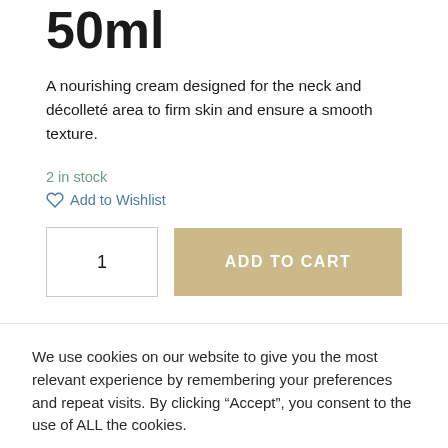50ml
A nourishing cream designed for the neck and décolleté area to firm skin and ensure a smooth texture.
2 in stock
Add to Wishlist
1   ADD TO CART
We use cookies on our website to give you the most relevant experience by remembering your preferences and repeat visits. By clicking "Accept", you consent to the use of ALL the cookies.
Cookie settings   ACCEPT